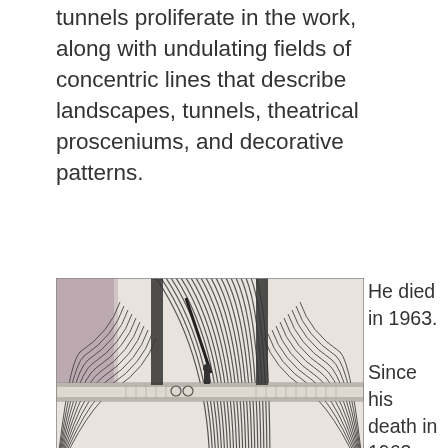horseback riders, and trains entering and exiting tunnels proliferate in the work, along with undulating fields of concentric lines that describe landscapes, tunnels, theatrical prosceniums, and decorative patterns.
[Figure (illustration): A detailed pen-and-ink drawing showing concentric curved lines forming tunnel-like arches and landscape forms, with a horizontal platform/ledge in the middle, and dark geometric elements. The style is intricate outsider art with repeating undulating line patterns.]
He died in 1963.

Since his death in 1963, Ramírez's drawings and collages have become some of the most highly valued examples of outsider art.
In January 2007, the American Folk Art